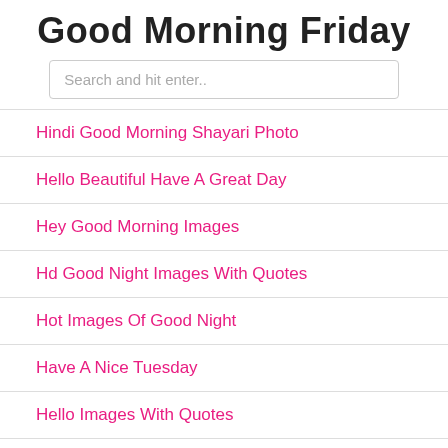Good Morning Friday
Search and hit enter..
Hindi Good Morning Shayari Photo
Hello Beautiful Have A Great Day
Hey Good Morning Images
Hd Good Night Images With Quotes
Hot Images Of Good Night
Have A Nice Tuesday
Hello Images With Quotes
Have A Nice Thursday Pictures
Hello Tuesday Quotes